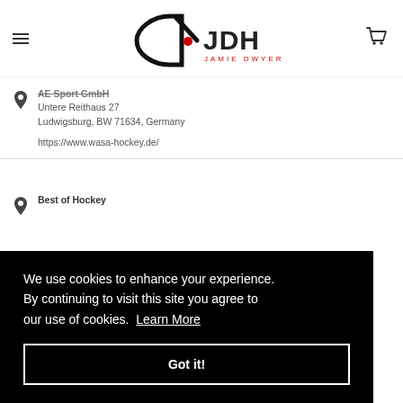[Figure (logo): JDH Jamie Dwyer logo with stylized D and hockey stick, red dot, bold JDH text]
AE Sport GmbH
Untere Reithaus 27
Ludwigsburg, BW 71634, Germany

https://www.wasa-hockey.de/
Best of Hockey
We use cookies to enhance your experience. By continuing to visit this site you agree to our use of cookies. Learn More
Got it!